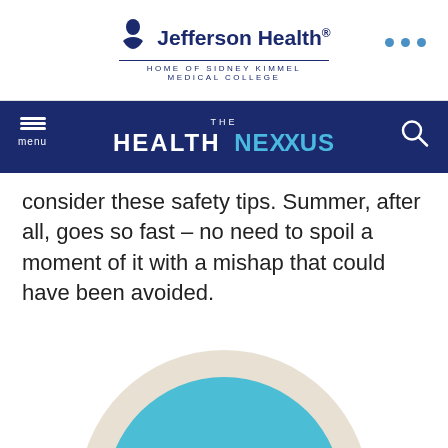[Figure (logo): Jefferson Health logo with figure icon and tagline 'HOME OF SIDNEY KIMMEL MEDICAL COLLEGE']
THE HEALTH NEXUS
consider these safety tips. Summer, after all, goes so fast – no need to spoil a moment of it with a mishap that could have been avoided.
[Figure (illustration): Circular illustration on beige/cream background with a teal/cyan inner circle containing yellow-framed sunglasses with dark lenses, representing summer safety theme.]